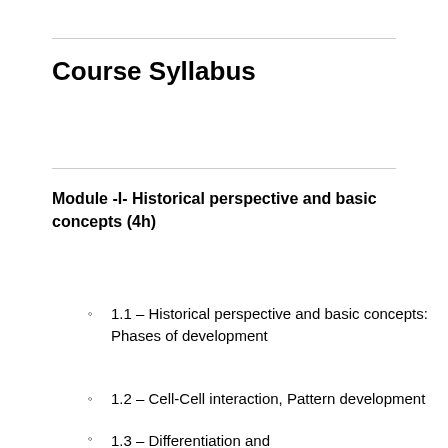Course Syllabus
Module -I- Historical perspective and basic concepts (4h)
1.1 – Historical perspective and basic concepts: Phases of development
1.2 – Cell-Cell interaction, Pattern development
1.3 – Differentiation and